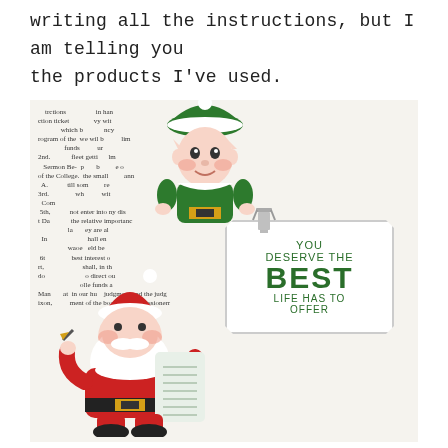writing all the instructions, but I am telling you the products I've used.
[Figure (photo): A craft/scrapbooking photo showing a decorative card clipped with a binder clip to a newspaper background. The card reads 'YOU DESERVE THE BEST LIFE HAS TO OFFER'. An elf character figurine is clipped to the top of the setup, and a Santa Claus character holding a scroll list is placed at the bottom left.]